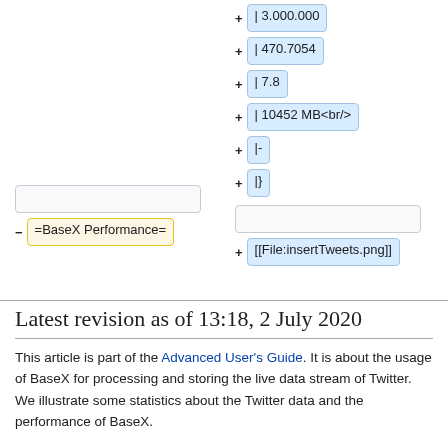+ | 3.000.000
+ | 470.7054
+ | 7.8
+ | 10452 MB<br/>
+ |-
+ |}
- =BaseX Performance=
+ [[File:insertTweets.png]]
Latest revision as of 13:18, 2 July 2020
This article is part of the Advanced User's Guide. It is about the usage of BaseX for processing and storing the live data stream of Twitter. We illustrate some statistics about the Twitter data and the performance of BaseX.